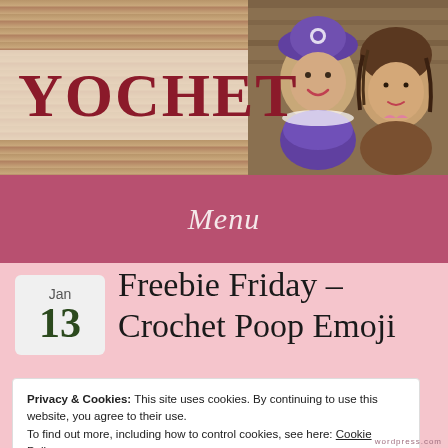[Figure (photo): Website header banner for YOCHET blog with wood-grain background, white/translucent box showing site title 'YOCHET' in dark red serif font, and crochet dolls photo on the right side]
YOCHET
Menu
Jan
13
Freebie Friday – Crochet Poop Emoji
Privacy & Cookies: This site uses cookies. By continuing to use this website, you agree to their use.
To find out more, including how to control cookies, see here: Cookie Policy
Close and accept